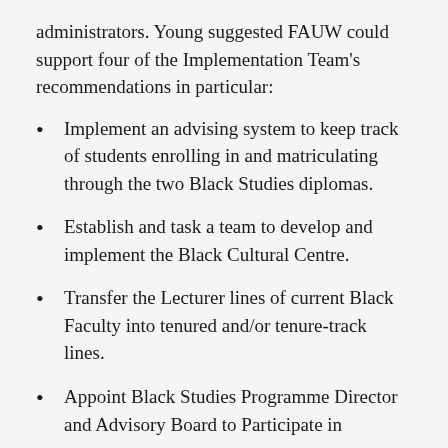administrators. Young suggested FAUW could support four of the Implementation Team's recommendations in particular:
Implement an advising system to keep track of students enrolling in and matriculating through the two Black Studies diplomas.
Establish and task a team to develop and implement the Black Cultural Centre.
Transfer the Lecturer lines of current Black Faculty into tenured and/or tenure-track lines.
Appoint Black Studies Programme Director and Advisory Board to Participate in